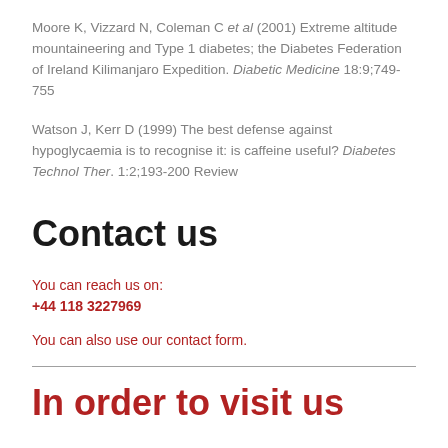Moore K, Vizzard N, Coleman C et al (2001) Extreme altitude mountaineering and Type 1 diabetes; the Diabetes Federation of Ireland Kilimanjaro Expedition. Diabetic Medicine 18:9;749-755
Watson J, Kerr D (1999) The best defense against hypoglycaemia is to recognise it: is caffeine useful? Diabetes Technol Ther. 1:2;193-200 Review
Contact us
You can reach us on:
+44 118 3227969
You can also use our contact form.
In order to visit us